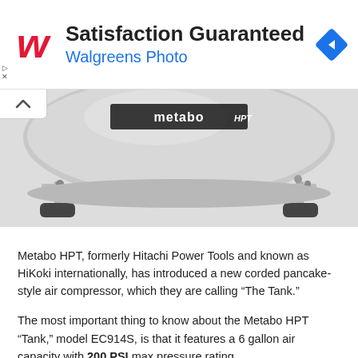[Figure (logo): Walgreens advertisement banner with Walgreens logo, text 'Satisfaction Guaranteed' and 'Walgreens Photo', and a blue navigation arrow icon]
[Figure (photo): Close-up photograph of the Metabo HPT pancake-style air compressor tank viewed from below, showing metal legs with rubber feet and the Metabo HPT branding on the silver dome tank body]
Metabo HPT, formerly Hitachi Power Tools and known as HiKoki internationally, has introduced a new corded pancake-style air compressor, which they are calling “The Tank.”
The most important thing to know about the Metabo HPT “Tank,” model EC914S, is that it features a 6 gallon air capacity with 200 PSI max pressure rating.